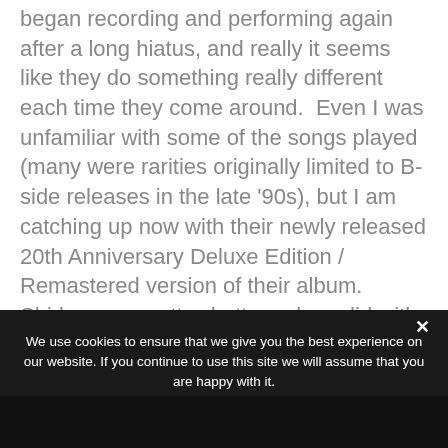began recording and performing again after a long hiatus, and really it seems like they do something really different each time they come around.  Even I was unfamiliar with some of the songs played (many were rarities originally limited to B-side releases in the late '90s), but I am catching up now with their newly released 20th Anniversary Deluxe Edition / Remastered version of their album.  Shirley was pretty chatty and candid with the crowd in-between songs and it felt like quite a special show.  I really enjoyed it and it reminded me of what a
We use cookies to ensure that we give you the best experience on our website. If you continue to use this site we will assume that you are happy with it.
OK